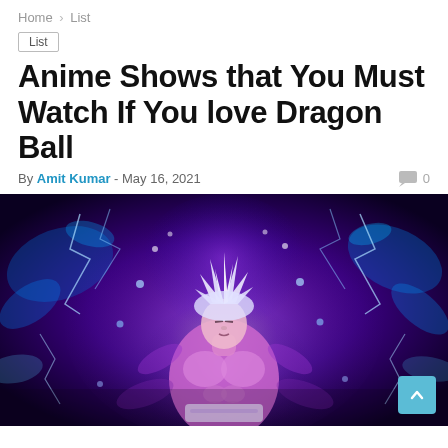Home > List
List
Anime Shows that You Must Watch If You love Dragon Ball
By Amit Kumar - May 16, 2021  💬 0
[Figure (illustration): Dragon Ball anime character (Goku in Mastered Ultra Instinct form) glowing with intense purple and blue energy aura, white hair, muscular, dark background with electric energy effects.]